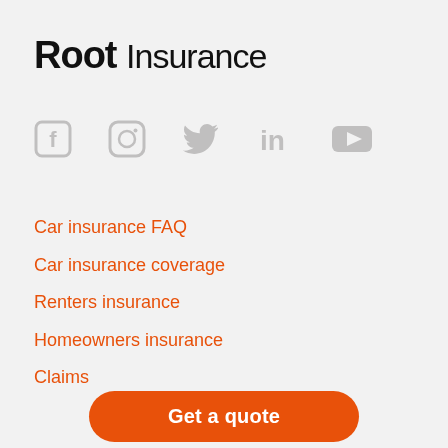Root Insurance
[Figure (logo): Social media icons: Facebook, Instagram, Twitter, LinkedIn, YouTube — all in light gray]
Car insurance FAQ
Car insurance coverage
Renters insurance
Homeowners insurance
Claims
Test drive
Referrals
Contact
Get a quote